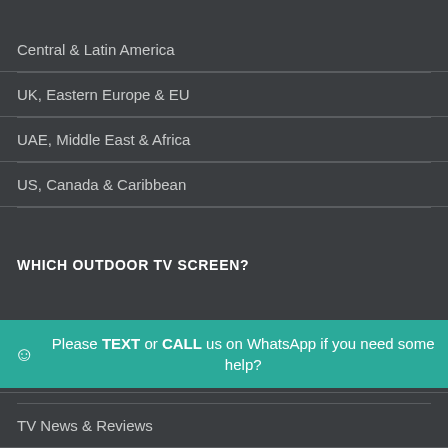Central & Latin America
UK, Eastern Europe & EU
UAE, Middle East & Africa
US, Canada & Caribbean
WHICH OUTDOOR TV SCREEN?
Frequently Asked Questions
TV Sizes & Dimensions
Please TEXT or CALL us on WhatsApp if you need some help?
TV News & Reviews